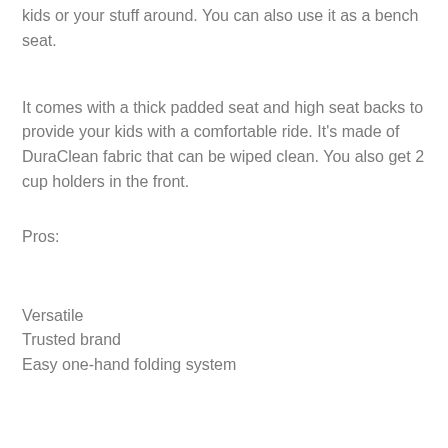kids or your stuff around. You can also use it as a bench seat.
It comes with a thick padded seat and high seat backs to provide your kids with a comfortable ride. It's made of DuraClean fabric that can be wiped clean. You also get 2 cup holders in the front.
Pros:
Versatile
Trusted brand
Easy one-hand folding system